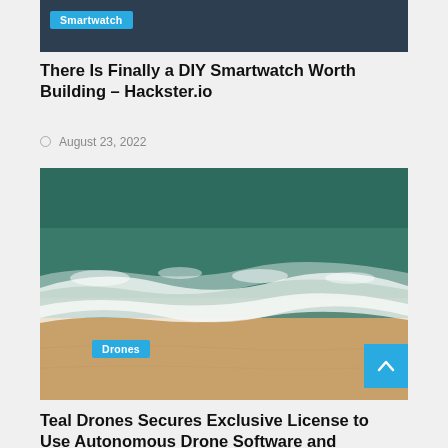[Figure (photo): Partial view of a dark header image with a Smartwatch category badge in cyan/blue]
There Is Finally a DIY Smartwatch Worth Building – Hackster.io
August 23, 2022
[Figure (photo): Aerial photo of ocean waves meeting a sandy beach, with a Drones category badge and scroll-to-top button overlay]
Teal Drones Secures Exclusive License to Use Autonomous Drone Software and Technology from